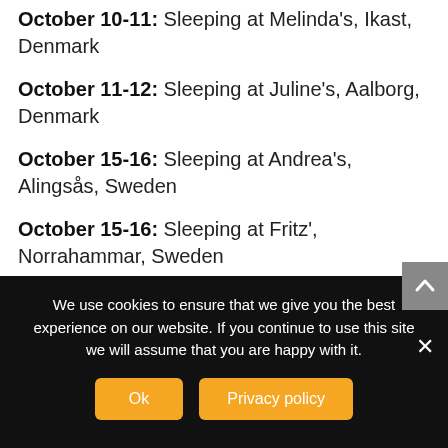October 10-11: Sleeping at Melinda's, Ikast, Denmark
October 11-12: Sleeping at Juline's, Aalborg, Denmark
October 15-16: Sleeping at Andrea's, Alingsås, Sweden
October 15-16: Sleeping at Fritz', Norrahammar, Sweden
October 15-16: Sleeping at Lena's, Vikingstad, Sweden
We use cookies to ensure that we give you the best experience on our website. If you continue to use this site we will assume that you are happy with it.